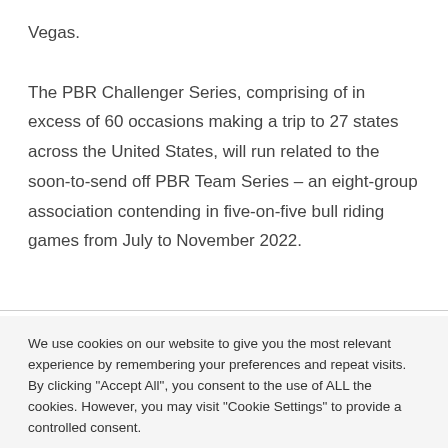Vegas.

The PBR Challenger Series, comprising of in excess of 60 occasions making a trip to 27 states across the United States, will run related to the soon-to-send off PBR Team Series – an eight-group association contending in five-on-five bull riding games from July to November 2022.
We use cookies on our website to give you the most relevant experience by remembering your preferences and repeat visits. By clicking "Accept All", you consent to the use of ALL the cookies. However, you may visit "Cookie Settings" to provide a controlled consent.